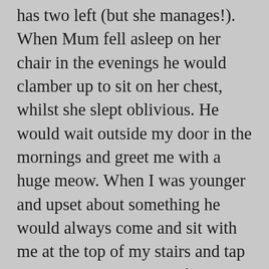has two left (but she manages!). When Mum fell asleep on her chair in the evenings he would clamber up to sit on her chest, whilst she slept oblivious. He would wait outside my door in the mornings and greet me with a huge meow. When I was younger and upset about something he would always come and sit with me at the top of my stairs and tap me. He really was one of the bestest friends anyone could have. When I came back from University to see my family, he would turn his back to me, sulking because I had left him for so long. He was happy when I finally came home!